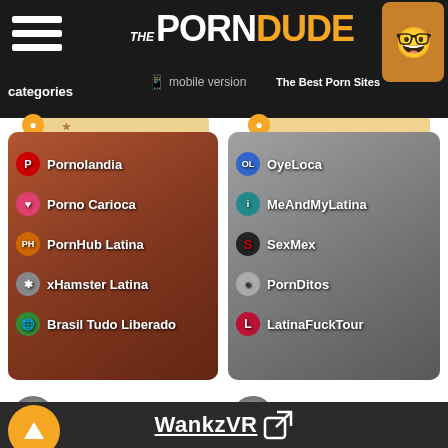The PornDude - The Best Porn Sites | mobile version | categories
[Figure (screenshot): Left card with latina porn site links: Pornolandia, Porno Carioca, PornHub Latina, xHamster Latina, Brasil Tudo Liberado]
[Figure (screenshot): Right card with latina porn site links: OyeLoca, MeAndMyLatina, SexMex, PornDitos, LatinaFuckTour]
BDSM Porn Sites
BDSM Porn Premiu...
Heavy R
BoundHub
Kink
AbuseMe
WankzVR